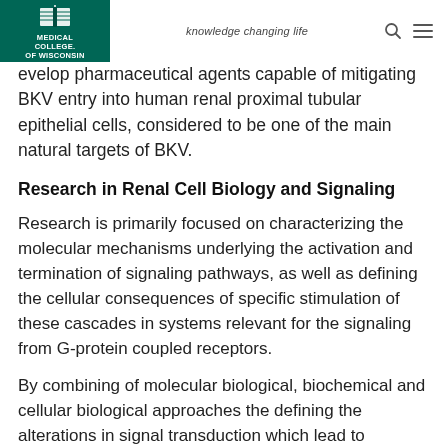Medical College of Wisconsin — knowledge changing life
…evelop pharmaceutical agents capable of mitigating BKV entry into human renal proximal tubular epithelial cells, considered to be one of the main natural targets of BKV.
Research in Renal Cell Biology and Signaling
Research is primarily focused on characterizing the molecular mechanisms underlying the activation and termination of signaling pathways, as well as defining the cellular consequences of specific stimulation of these cascades in systems relevant for the signaling from G-protein coupled receptors.
By combining of molecular biological, biochemical and cellular biological approaches the defining the alterations in signal transduction which lead to